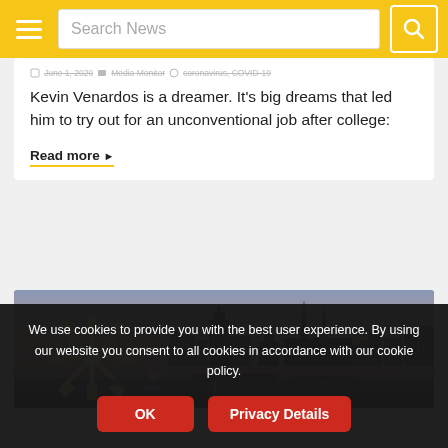Search News
June 1, 2020  Media Monitor  coronavirus, COVID-19
Kevin Venardos is a dreamer. It’s big dreams that led him to try out for an unconventional job after college:
Read more ▸
[Figure (photo): Cityscape at dusk showing gothic cathedral (Cologne Cathedral) and a fairground ride with illuminated star-shaped lights in the foreground, river in background]
We use cookies to provide you with the best user experience. By using our website you consent to all cookies in accordance with our cookie policy.